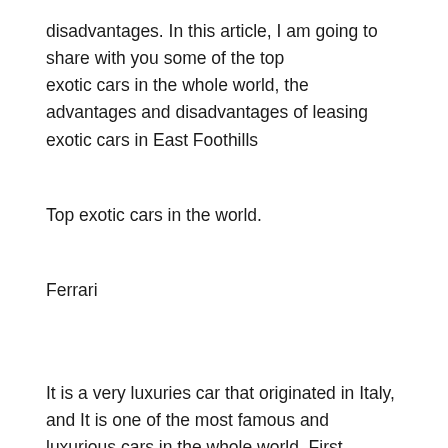disadvantages. In this article, I am going to share with you some of the top exotic cars in the whole world, the advantages and disadvantages of leasing exotic cars in East Foothills
Top exotic cars in the world.
Ferrari
It is a very luxuries car that originated in Italy, and It is one of the most famous and luxurious cars in the whole world. First produced